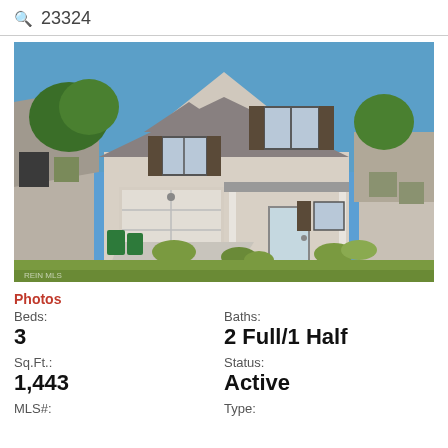23324
[Figure (photo): Exterior photo of a two-story residential home with beige/white vinyl siding, dark shutters, a single-car garage, covered front porch with white columns, green lawn, blue sky background, neighboring houses visible on both sides.]
Photos
Beds:
3
Baths:
2 Full/1 Half
Sq.Ft.:
1,443
Status:
Active
MLS#:
Type: